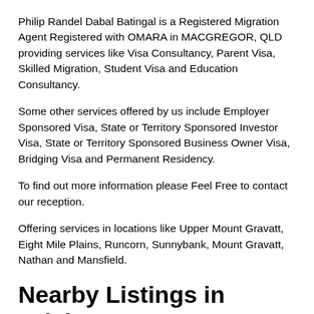Philip Randel Dabal Batingal is a Registered Migration Agent Registered with OMARA in MACGREGOR, QLD providing services like Visa Consultancy, Parent Visa, Skilled Migration, Student Visa and Education Consultancy.
Some other services offered by us include Employer Sponsored Visa, State or Territory Sponsored Investor Visa, State or Territory Sponsored Business Owner Visa, Bridging Visa and Permanent Residency.
To find out more information please Feel Free to contact our reception.
Offering services in locations like Upper Mount Gravatt, Eight Mile Plains, Runcorn, Sunnybank, Mount Gravatt, Nathan and Mansfield.
Nearby Listings in Brisbane
Neil John Maybanks
Neil Maybanks